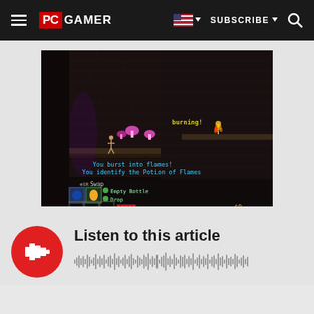PC GAMER | SUBSCRIBE
[Figure (screenshot): Dark pixel-art dungeon game screenshot showing a character burning, with inventory UI showing Empty Bottle and Drop options, and text 'You burst into flames! You identify the Potion of Flames']
Listen to this article